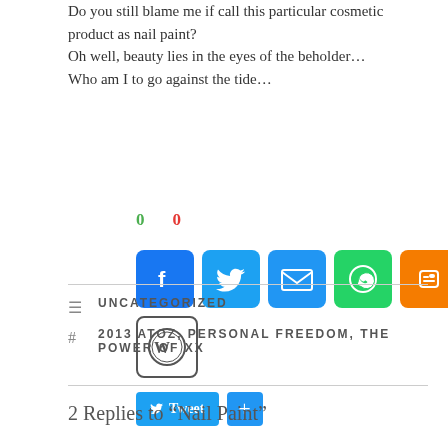Do you still blame me if call this particular cosmetic product as nail paint?
Oh well, beauty lies in the eyes of the beholder...
Who am I to go against the tide...
[Figure (infographic): Social share icons: Facebook, Twitter, Email, WhatsApp, Blogger, WordPress, Tweet button, and a + (more) button. Counts: 0 (green), 0 (red).]
UNCATEGORIZED
2013 ATOZ, PERSONAL FREEDOM, THE POWER OF XX
2 Replies to “Nail Paint”